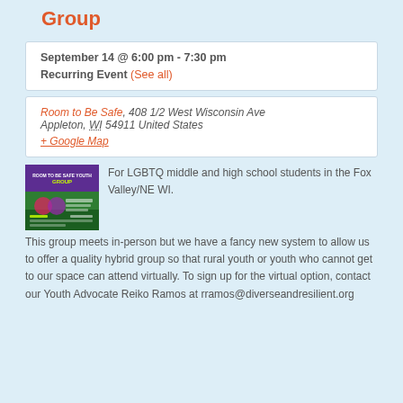Group
September 14 @ 6:00 pm - 7:30 pm
Recurring Event (See all)
Room to Be Safe, 408 1/2 West Wisconsin Ave Appleton, WI 54911 United States + Google Map
[Figure (illustration): Event flyer image for Room to Be Safe Youth Group with purple/green background]
For LGBTQ middle and high school students in the Fox Valley/NE WI. This group meets in-person but we have a fancy new system to allow us to offer a quality hybrid group so that rural youth or youth who cannot get to our space can attend virtually. To sign up for the virtual option, contact our Youth Advocate Reiko Ramos at rramos@diverseandresilient.org